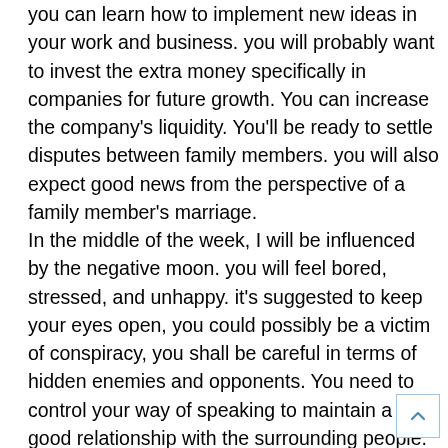you can learn how to implement new ideas in your work and business. you will probably want to invest the extra money specifically in companies for future growth. You can increase the company's liquidity. You'll be ready to settle disputes between family members. you will also expect good news from the perspective of a family member's marriage.
In the middle of the week, I will be influenced by the negative moon. you will feel bored, stressed, and unhappy. it's suggested to keep your eyes open, you could possibly be a victim of conspiracy, you shall be careful in terms of hidden enemies and opponents. You need to control your way of speaking to maintain a good relationship with the surrounding people. You should avoid investing in risky securities. You are recommended to practice meditation and yoga to get out of stress and anxiety. You should avoid